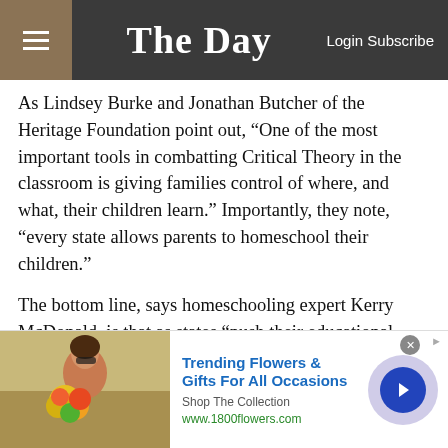The Day — Login Subscribe
As Lindsey Burke and Jonathan Butcher of the Heritage Foundation point out, “One of the most important tools in combatting Critical Theory in the classroom is giving families control of where, and what, their children learn.” Importantly, they note, “every state allows parents to homeschool their children.”
The bottom line, says homeschooling expert Kerry McDonald, is that as states “push their educational institutions toward a more progressive ideology, rooted in critical theory, parents who disapprove of this ideology
[Figure (infographic): Advertisement banner for 1800flowers.com: Trending Flowers & Gifts For All Occasions. Shop The Collection. www.1800flowers.com. Shows a woman holding flowers on the left.]